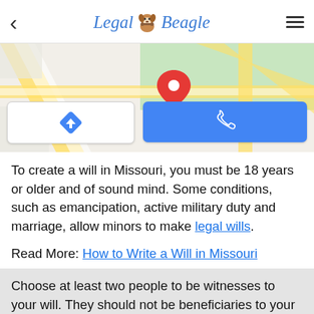Legal Beagle
[Figure (map): Google Maps view showing street map with a red location pin marker, with two buttons overlaid: a directions button (blue diamond arrow icon) and a call button (phone icon on blue background)]
To create a will in Missouri, you must be 18 years or older and of sound mind. Some conditions, such as emancipation, active military duty and marriage, allow minors to make legal wills.
Read More: How to Write a Will in Missouri
Choose at least two people to be witnesses to your will. They should not be beneficiaries to your estate